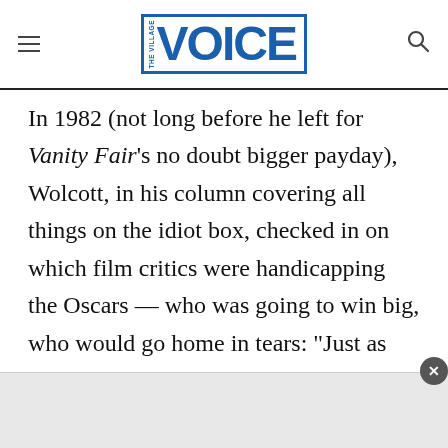the village VOICE
In 1982 (not long before he left for Vanity Fair’s no doubt bigger payday), Wolcott, in his column covering all things on the idiot box, checked in on which film critics were handicapping the Oscars — who was going to win big, who would go home in tears: “Just as movie moguls while away the hours trying to divine the whims and desires of the Public, movie critics have increasingly begun wasting time and space delving into the collective mind of the Academy, wrestling with such brawny questions as